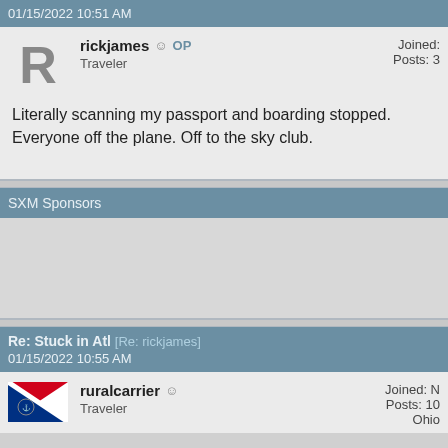01/15/2022 10:51 AM
rickjames ☺ OP
Traveler
Joined:
Posts: 3
Literally scanning my passport and boarding stopped. Everyone off the plane. Off to the sky club.
SXM Sponsors
Re: Stuck in Atl [Re: rickjames]
01/15/2022 10:55 AM
ruralcarrier ☺
Traveler
Joined: N
Posts: 10
Ohio